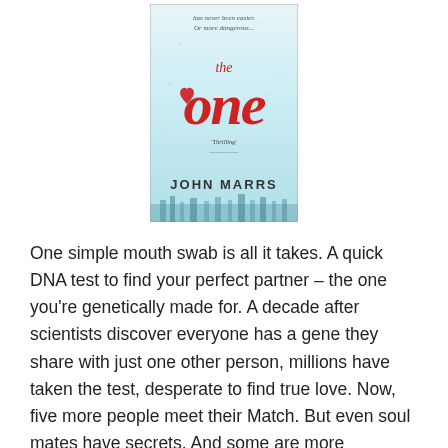[Figure (illustration): Book cover of 'The One' by John Marrs. Light blue/white background with red stylized text 'the one' where the 'o' contains a heart shape. Text at top reads 'has never been easier. Or more dangerous...' and tagline 'Thrilling' appears below the title. Author name 'JOHN MARRS' at bottom.]
One simple mouth swab is all it takes. A quick DNA test to find your perfect partner – the one you're genetically made for. A decade after scientists discover everyone has a gene they share with just one other person, millions have taken the test, desperate to find true love. Now, five more people meet their Match. But even soul mates have secrets. And some are more shocking – and deadlier – than others…
This ensemble piece, where we follow the fortunes of an unrelated number of protagonists who are looking